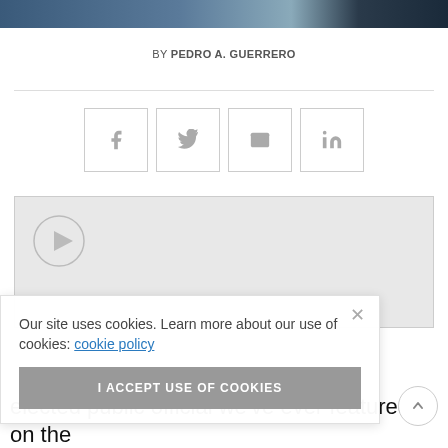BY PEDRO A. GUERRERO
[Figure (infographic): Social sharing buttons: Facebook (f), Twitter bird, Email (envelope), LinkedIn (in)]
[Figure (screenshot): Embedded video player box with play button circle]
Our site uses cookies. Learn more about our use of cookies: cookie policy
I ACCEPT USE OF COOKIES
elected public official we've ever featured on the